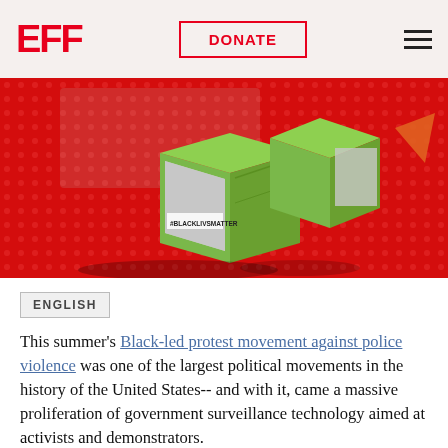EFF | DONATE
[Figure (illustration): Hero image showing green cube-shaped devices with protest imagery including a Black Lives Matter banner, set against a red dotted background]
ENGLISH
This summer's Black-led protest movement against police violence was one of the largest political movements in the history of the United States-- and with it, came a massive proliferation of government surveillance technology aimed at activists and demonstrators.